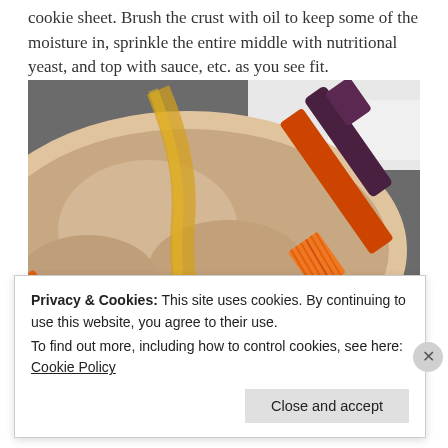cookie sheet. Brush the crust with oil to keep some of the moisture in, sprinkle the entire middle with nutritional yeast, and top with sauce, etc. as you see fit.
[Figure (photo): Close-up photo of pizza dough being brushed with oil using an orange silicone pastry brush on a dark baking sheet.]
Privacy & Cookies: This site uses cookies. By continuing to use this website, you agree to their use.
To find out more, including how to control cookies, see here: Cookie Policy